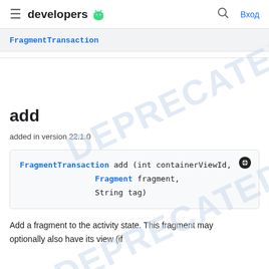≡ developers [android] Q Вход
FragmentTransaction
add
added in version 22.1.0
FragmentTransaction add (int containerViewId,
                Fragment fragment,
                String tag)
Add a fragment to the activity state. This fragment may optionally also have its view (if